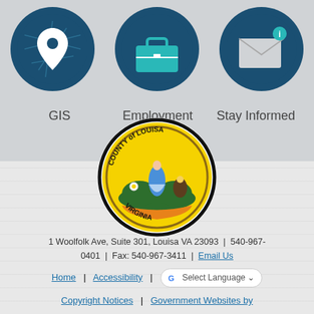[Figure (infographic): Three circular icons on gray background: GIS (map pin icon on dark blue), Employment (briefcase icon on teal/dark blue), Stay Informed (envelope/notification icon on dark blue)]
GIS
Employment
Stay Informed
[Figure (logo): County of Louisa Virginia official seal - circular seal with yellow background, figure of woman in blue dress, eagle, flowers, text reading COUNTY of LOUISA VIRGINIA]
1 Woolfolk Ave, Suite 301, Louisa VA 23093  |  540-967-0401  |  Fax: 540-967-3411  |  Email Us
Home  |  Accessibility  |  Select Language
Copyright Notices  |  Government Websites by